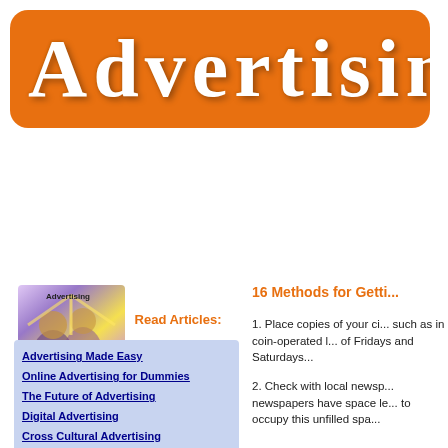Advertising
[Figure (illustration): Advertising illustration with figures holding items, purple/yellow tones, labeled 'Advertising']
Read Articles:
Advertising Made Easy
Online Advertising for Dummies
The Future of Advertising
Digital Advertising
Cross Cultural Advertising
16 Methods for Getti...
1. Place copies of your ci... such as in coin-operated l... of Fridays and Saturdays...
2. Check with local newsp... newspapers have space le... to occupy this unfilled spa...